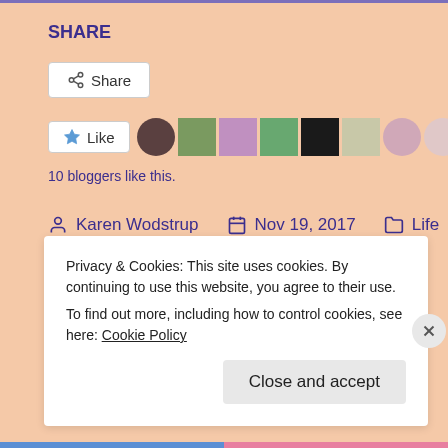SHARE
Share button
[Figure (screenshot): Like button with star icon and row of 10 blogger avatar thumbnails]
10 bloggers like this.
Karen Wodstrup   Nov 19, 2017   Life
blogging, DIY, DIY project, home decor, ideas, inspiration, Life, room, room DIY, sunday
Privacy & Cookies: This site uses cookies. By continuing to use this website, you agree to their use.
To find out more, including how to control cookies, see here: Cookie Policy